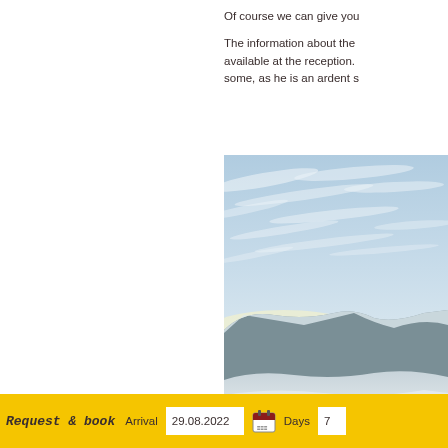Of course we can give you

The information about the available at the reception. some, as he is an ardent s
[Figure (photo): Winter landscape photo showing snowy mountains and hills under a dramatic cloudy blue sky with warm sunlight on the horizon.]
Request & book   Arrival   29.08.2022   [calendar icon]   Days   7